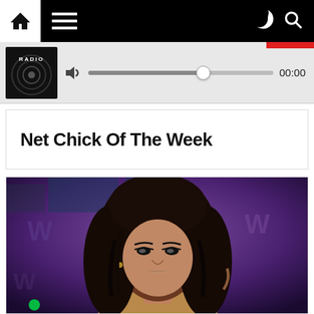Navigation bar with home icon, menu icon, moon icon, search icon
[Figure (screenshot): Audio player bar with radio logo thumbnail, speaker/volume icon, slider at ~65%, and time display showing 00:00]
Net Chick Of The Week
[Figure (photo): Young woman with long curly dark hair, glamorous makeup, gold/nude outfit, against a purple-lit nightclub background]